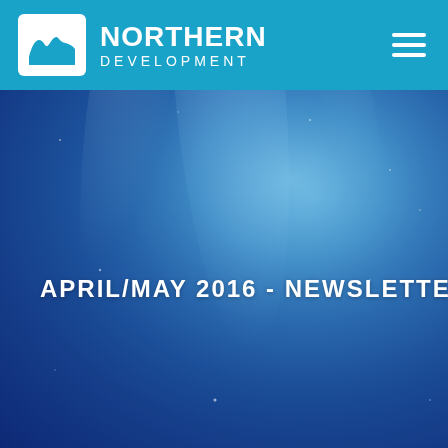Northern Development
[Figure (logo): Northern Development logo: white box with stylized wave/mountain graphic in teal, with organization name 'NORTHERN DEVELOPMENT' in white text to the right]
APRIL/MAY 2016 - NEWSLETTER
[Figure (photo): Northern lights / aurora borealis background image with deep blue sky, glowing light beams in lighter blue and teal, and faint stars visible]